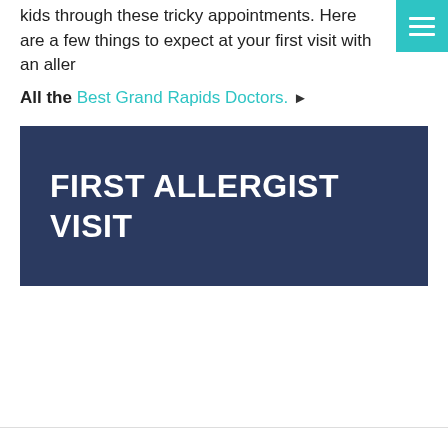kids through these tricky appointments. Here are a few things to expect at your first visit with an aller
All the Best Grand Rapids Doctors. ▶
[Figure (other): Dark navy blue banner image with white bold uppercase text reading 'FIRST ALLERGIST VISIT']